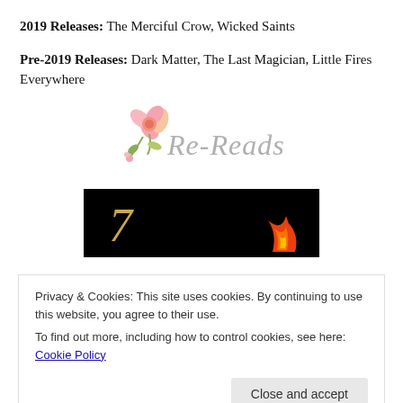2019 Releases: The Merciful Crow, Wicked Saints
Pre-2019 Releases: Dark Matter, The Last Magician, Little Fires Everywhere
[Figure (logo): Re-Reads logo with watercolor flower and grey text]
[Figure (photo): Black banner with golden number 7 on left and red flame figure on right]
Privacy & Cookies: This site uses cookies. By continuing to use this website, you agree to their use.
To find out more, including how to control cookies, see here: Cookie Policy
Close and accept
[Figure (photo): Black banner bottom portion visible at the bottom of the page]